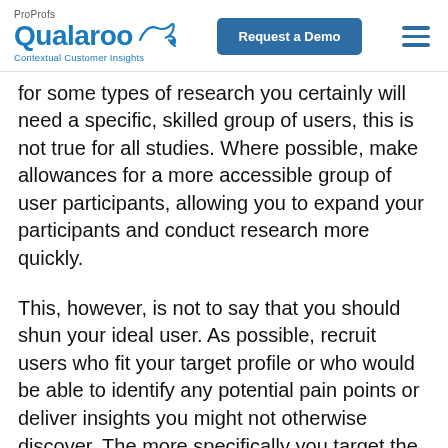ProProfs Qualaroo Contextual Customer Insights | Request a Demo
for some types of research you certainly will need a specific, skilled group of users, this is not true for all studies. Where possible, make allowances for a more accessible group of user participants, allowing you to expand your participants and conduct research more quickly.
This, however, is not to say that you should shun your ideal user. As possible, recruit users who fit your target profile or who would be able to identify any potential pain points or deliver insights you might not otherwise discover. The more specifically you target the right users in the right use case, the more